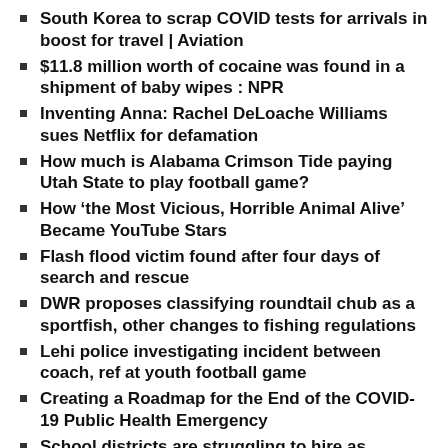South Korea to scrap COVID tests for arrivals in boost for travel | Aviation
$11.8 million worth of cocaine was found in a shipment of baby wipes : NPR
Inventing Anna: Rachel DeLoache Williams sues Netflix for defamation
How much is Alabama Crimson Tide paying Utah State to play football game?
How ‘the Most Vicious, Horrible Animal Alive’ Became YouTube Stars
Flash flood victim found after four days of search and rescue
DWR proposes classifying roundtail chub as a sportfish, other changes to fishing regulations
Lehi police investigating incident between coach, ref at youth football game
Creating a Roadmap for the End of the COVID-19 Public Health Emergency
School districts are struggling to hire as teachers reconsider their careers : NPR
Study evaluates atomoxetine for children with ADHD